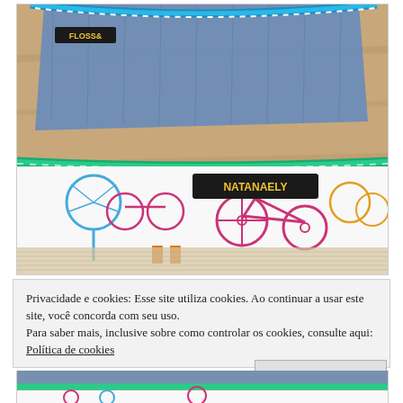[Figure (photo): Close-up photo of a fabric pouch/bag with a green zipper, colorful bicycle-themed lining fabric with a 'NATANAELY' label tag. A blue denim outer fabric and blue zipper are visible at the top.]
Privacidade e cookies: Esse site utiliza cookies. Ao continuar a usar este site, você concorda com seu uso.
Para saber mais, inclusive sobre como controlar os cookies, consulte aqui: Política de cookies
Fechar e aceitar
[Figure (photo): Bottom portion of another similar photo showing colorful fabric.]